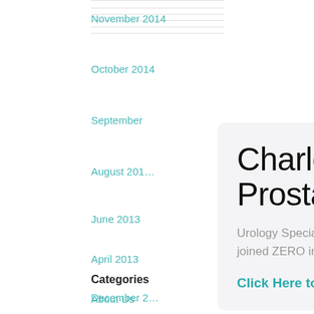November 2014
October 2014
September
August 201…
June 2013
April 2013
December 2…
Charlotte Joins Fight Against Prostate Cancer
Urology Specialists of the Carolinas are pleased to announce that they have joined ZERO in the upcoming Charlotte ZERO Prostate Cancer Run/Walk.
Click Here to Register/Donate
Categories
About Us